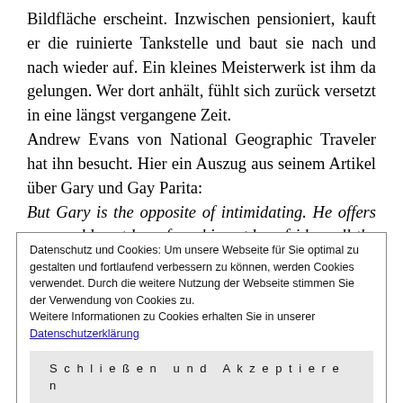Bildfläche erscheint. Inzwischen pensioniert, kauft er die ruinierte Tankstelle und baut sie nach und nach wieder auf. Ein kleines Meisterwerk ist ihm da gelungen. Wer dort anhält, fühlt sich zurück versetzt in eine längst vergangene Zeit.
Andrew Evans von National Geographic Traveler hat ihn besucht. Hier ein Auszug aus seinem Artikel über Gary und Gay Parita:
But Gary is the opposite of intimidating. He offers me a cold root beer from his outdoor fridge, all the while
Datenschutz und Cookies: Um unsere Webseite für Sie optimal zu gestalten und fortlaufend verbessern zu können, werden Cookies verwendet. Durch die weitere Nutzung der Webseite stimmen Sie der Verwendung von Cookies zu.
Weitere Informationen zu Cookies erhalten Sie in unserer Datenschutzerklärung
Schließen und Akzeptieren
establishment in Oklahoma that I must avoid at all